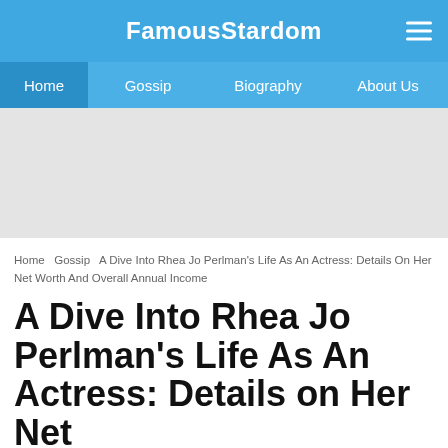FamousStardom
Home  Gossip  Biography  About Us
[Figure (other): Advertisement placeholder banner, light gray background]
Home  Gossip  A Dive Into Rhea Jo Perlman's Life As An Actress: Details On Her Net Worth And Overall Annual Income
A Dive Into Rhea Jo Perlman's Life As An Actress: Details on Her Net